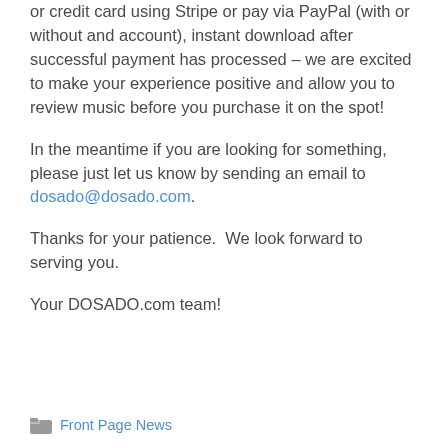or credit card using Stripe or pay via PayPal (with or without and account), instant download after successful payment has processed – we are excited to make your experience positive and allow you to review music before you purchase it on the spot!
In the meantime if you are looking for something, please just let us know by sending an email to dosado@dosado.com.
Thanks for your patience.  We look forward to serving you.
Your DOSADO.com team!
Front Page News